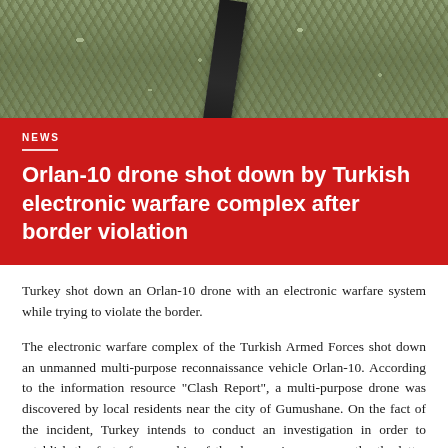[Figure (photo): Aerial or ground-level photo showing grass and rocky ground with a dark diagonal shadow (likely a drone part or arm) crossing the frame.]
NEWS
Orlan-10 drone shot down by Turkish electronic warfare complex after border violation
Turkey shot down an Orlan-10 drone with an electronic warfare system while trying to violate the border.
The electronic warfare complex of the Turkish Armed Forces shot down an unmanned multi-purpose reconnaissance vehicle Orlan-10. According to the information resource "Clash Report", a multi-purpose drone was discovered by local residents near the city of Gumushane. On the fact of the incident, Turkey intends to conduct an investigation in order to establish the fact of ownership of the drone, since, apparently, the latter reached Turkish territory through the space above the Black Sea.